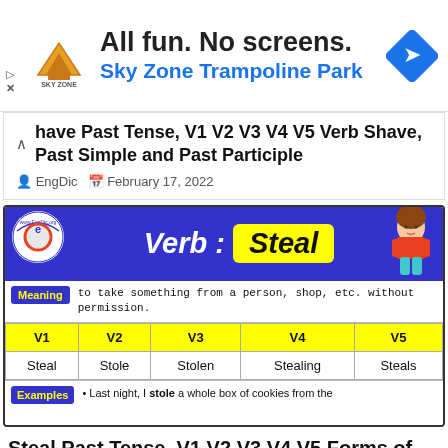[Figure (infographic): Sky Zone Trampoline Park advertisement banner with logo, headline 'All fun. No screens.' and subheadline 'Sky Zone Trampoline Park']
Shave Past Tense, V1 V2 V3 V4 V5 Verb Shave, Past Simple and Past Participle
EngDic   February 17, 2022
[Figure (infographic): EngDic verb card for 'Steal' showing verb forms V1=Steal, V2=Stole, V3=Stolen, V4=Stealing, V5=Steals, meaning, and examples]
Steal Past Tense, V1 V2 V3 V4 V5 Forms of